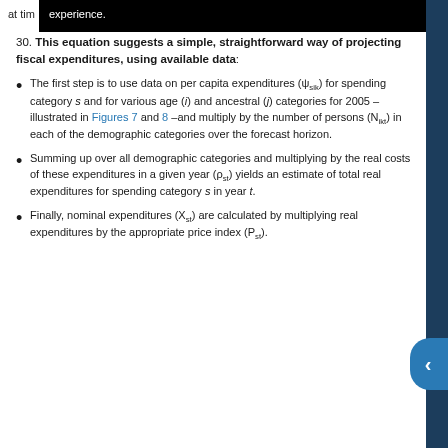at tim  experience.
30. This equation suggests a simple, straightforward way of projecting fiscal expenditures, using available data:
The first step is to use data on per capita expenditures (ψsik) for spending category s and for various age (i) and ancestral (j) categories for 2005 – illustrated in Figures 7 and 8 –and multiply by the number of persons (Nikt) in each of the demographic categories over the forecast horizon.
Summing up over all demographic categories and multiplying by the real costs of these expenditures in a given year (ρst) yields an estimate of total real expenditures for spending category s in year t.
Finally, nominal expenditures (Xst) are calculated by multiplying real expenditures by the appropriate price index (Pst).